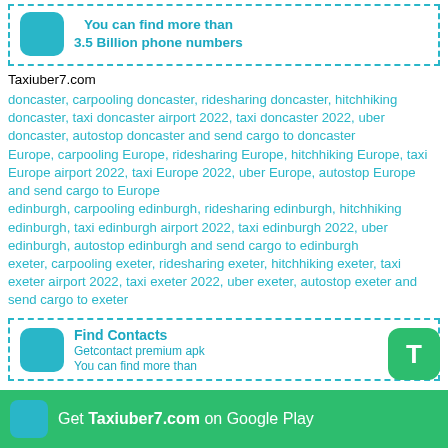[Figure (other): Top banner with teal app icon and bold teal text: 'You can find more than 3.5 Billion phone numbers']
Taxiuber7.com
doncaster, carpooling doncaster, ridesharing doncaster, hitchhiking doncaster, taxi doncaster airport 2022, taxi doncaster 2022, uber doncaster, autostop doncaster and send cargo to doncaster
Europe, carpooling Europe, ridesharing Europe, hitchhiking Europe, taxi Europe airport 2022, taxi Europe 2022, uber Europe, autostop Europe and send cargo to Europe
edinburgh, carpooling edinburgh, ridesharing edinburgh, hitchhiking edinburgh, taxi edinburgh airport 2022, taxi edinburgh 2022, uber edinburgh, autostop edinburgh and send cargo to edinburgh
exeter, carpooling exeter, ridesharing exeter, hitchhiking exeter, taxi exeter airport 2022, taxi exeter 2022, uber exeter, autostop exeter and send cargo to exeter
[Figure (other): Bottom banner with teal app icon and bold teal text: 'Find Contacts', subtext: 'Getcontact premium apk', 'You can find more than']
Get Taxiuber7.com on Google Play